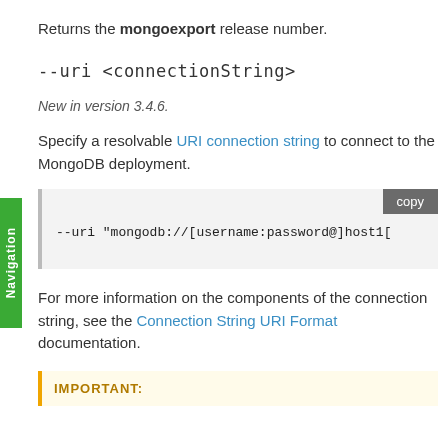Returns the mongoexport release number.
--uri <connectionString>
New in version 3.4.6.
Specify a resolvable URI connection string to connect to the MongoDB deployment.
[Figure (screenshot): Code block showing: --uri "mongodb://[username:password@]host1[]
For more information on the components of the connection string, see the Connection String URI Format documentation.
IMPORTANT: